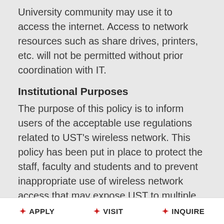University community may use it to access the internet. Access to network resources such as share drives, printers, etc. will not be permitted without prior coordination with IT.
Institutional Purposes
The purpose of this policy is to inform users of the acceptable use regulations related to UST's wireless network. This policy has been put in place to protect the staff, faculty and students and to prevent inappropriate use of wireless network access that may expose UST to multiple risks including viruses, network
✦ APPLY   ✦ VISIT   ✦ INQUIRE